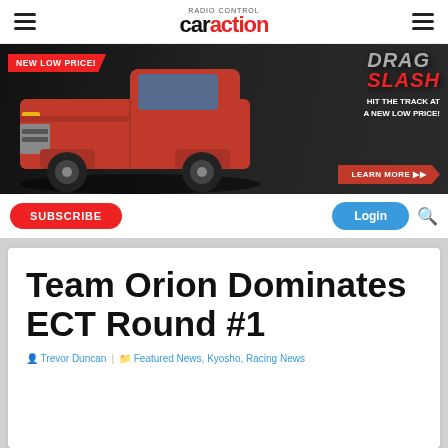RC Car Action
[Figure (photo): Advertisement banner for Traxxas Drag Slash RC truck showing a red vintage-style pickup truck with text 'NEW LOW PRICE!', 'DRAG SLASH', 'HIT THE TRACK AT A NEW LOW PRICE!', and 'LEARN MORE' button]
SUBSCRIBE   Login
Team Orion Dominates ECT Round #1
Trevor Duncan   Featured News, Kyosho, Racing News